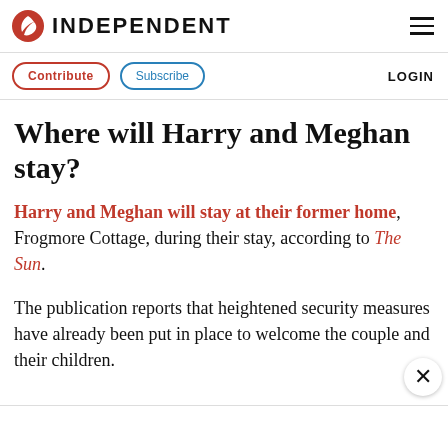INDEPENDENT
Where will Harry and Meghan stay?
Harry and Meghan will stay at their former home, Frogmore Cottage, during their stay, according to The Sun.
The publication reports that heightened security measures have already been put in place to welcome the couple and their children.